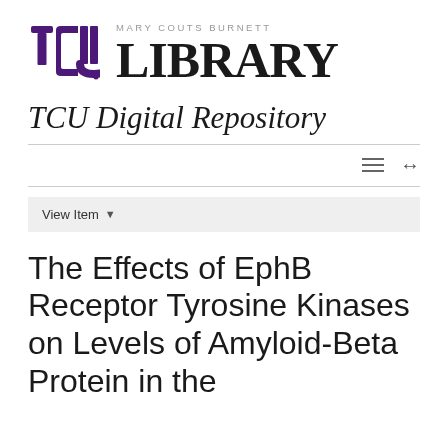[Figure (logo): TCU Mary Couts Burnett Library logo with TCU initials in purple and LIBRARY in large serif font]
TCU Digital Repository
View Item
The Effects of EphB Receptor Tyrosine Kinases on Levels of Amyloid-Beta Protein in the